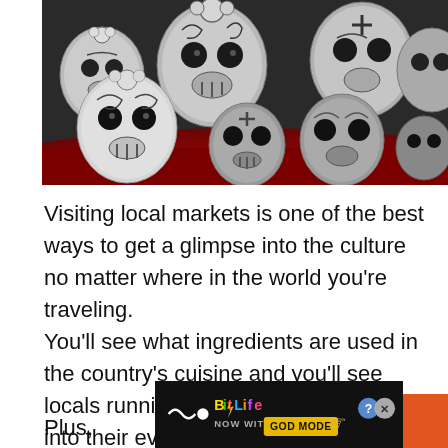[Figure (photo): A collection of white ceramic sugar skulls (Día de los Muertos / Day of the Dead calaveras) with black painted decorative patterns including flowers, crosses, dots and swirls, arranged on a red surface. The skulls vary in size.]
Visiting local markets is one of the best ways to get a glimpse into the culture no matter where in the world you're traveling.
You'll see what ingredients are used in the country's cuisine and you'll see locals running errands, getting a peek into their everyday lives.
Plus,
[Figure (screenshot): Advertisement banner for BitLife game with text 'NOW WITH GOD MODE', showing a hand pointing, question mark button, and X close button on dark background.]